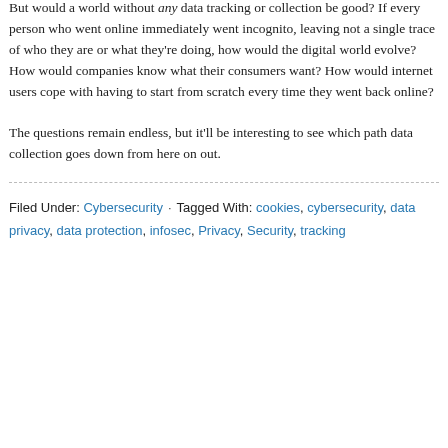But would a world without any data tracking or collection be good? If every person who went online immediately went incognito, leaving not a single trace of who they are or what they're doing, how would the digital world evolve? How would companies know what their consumers want? How would internet users cope with having to start from scratch every time they went back online?
The questions remain endless, but it'll be interesting to see which path data collection goes down from here on out.
Filed Under: Cybersecurity · Tagged With: cookies, cybersecurity, data privacy, data protection, infosec, Privacy, Security, tracking